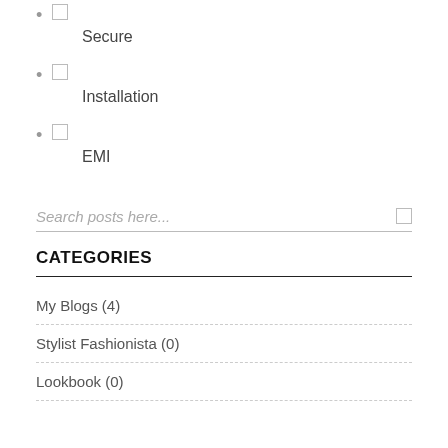☐ Secure
☐ Installation
☐ EMI
Search posts here...
CATEGORIES
My Blogs (4)
Stylist Fashionista (0)
Lookbook (0)